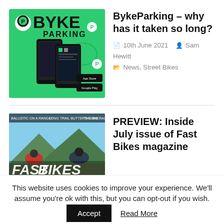[Figure (screenshot): BykeParking app promotional image on green background showing smartphone with app interface and motorcycle]
BykeParking – why has it taken so long?
10th June 2021   Sam Hewitt   News, Street Bikes
[Figure (screenshot): Fast Bikes magazine cover showing motorcycles and text 'AWESOME FOURSOME']
PREVIEW: Inside July issue of Fast Bikes magazine
This website uses cookies to improve your experience. We'll assume you're ok with this, but you can opt-out if you wish.
Accept   Read More